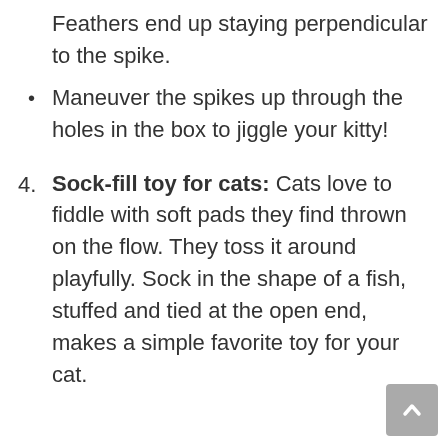Feathers end up staying perpendicular to the spike.
Maneuver the spikes up through the holes in the box to jiggle your kitty!
4. Sock-fill toy for cats: Cats love to fiddle with soft pads they find thrown on the flow. They toss it around playfully. Sock in the shape of a fish, stuffed and tied at the open end, makes a simple favorite toy for your cat.